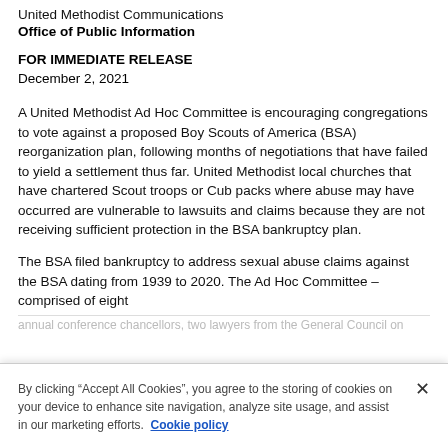United Methodist Communications
Office of Public Information
FOR IMMEDIATE RELEASE
December 2, 2021
A United Methodist Ad Hoc Committee is encouraging congregations to vote against a proposed Boy Scouts of America (BSA) reorganization plan, following months of negotiations that have failed to yield a settlement thus far. United Methodist local churches that have chartered Scout troops or Cub packs where abuse may have occurred are vulnerable to lawsuits and claims because they are not receiving sufficient protection in the BSA bankruptcy plan.
The BSA filed bankruptcy to address sexual abuse claims against the BSA dating from 1939 to 2020. The Ad Hoc Committee – comprised of eight annual conference chancellors, two lawyers from the General Council on...
By clicking “Accept All Cookies”, you agree to the storing of cookies on your device to enhance site navigation, analyze site usage, and assist in our marketing efforts. Cookie policy